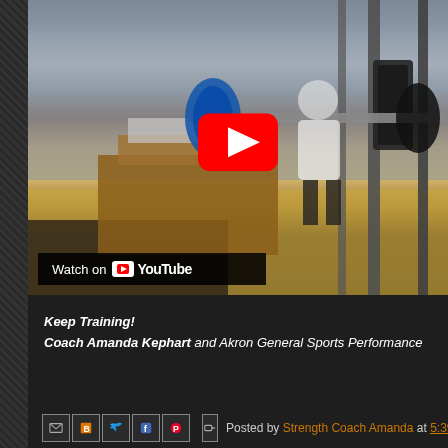[Figure (screenshot): YouTube video thumbnail showing a person performing a squat with a barbell in a gym (Akron General Sports Performance). A large YouTube play button is visible in the center-right. A 'Watch on YouTube' badge appears in the bottom-left of the video.]
Keep Training!
Coach Amanda Kephart and Akron General Sports Performance
Posted by Strength Coach Amanda at 5:39 P